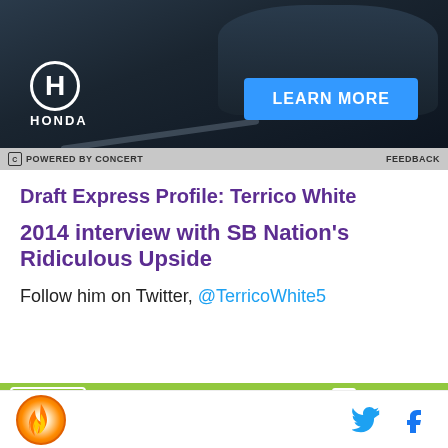[Figure (photo): Honda advertisement showing a dark-colored car on a road with LEARN MORE button and Honda logo. Footer bar reads POWERED BY CONCERT with FEEDBACK link.]
Draft Express Profile: Terrico White
2014 interview with SB Nation's Ridiculous Upside
Follow him on Twitter, @TerricoWhite5
[Figure (screenshot): DraftKings Sportsbook widget with Bet Now button, green header, and player name Devin Booker]
[Figure (logo): Site logo circle with flame icon, Twitter bird icon, and Facebook f icon in bottom bar]